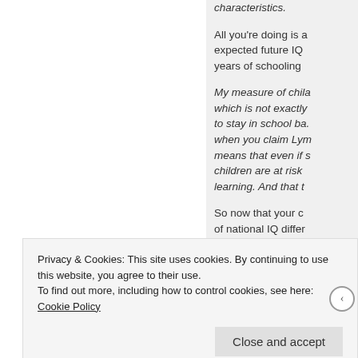characteristics.
All you're doing is adjusting expected future IQ differences for years of schooling
My measure of child IQ is years, which is not exactly the same as to stay in school based on IQ, when you claim Lynn means that even if s children are at risk learning. And that t
So now that your c of national IQ differ
Privacy & Cookies: This site uses cookies. By continuing to use this website, you agree to their use.
To find out more, including how to control cookies, see here: Cookie Policy